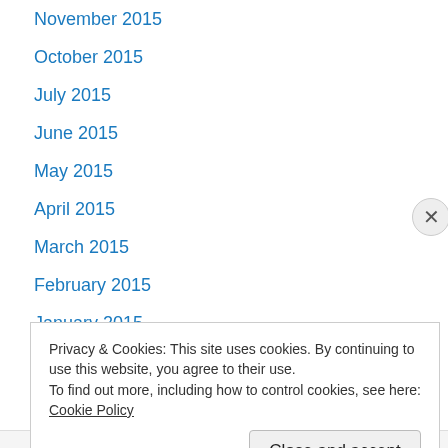November 2015
October 2015
July 2015
June 2015
May 2015
April 2015
March 2015
February 2015
January 2015
December 2014
November 2014
October 2014
September 2014
Privacy & Cookies: This site uses cookies. By continuing to use this website, you agree to their use. To find out more, including how to control cookies, see here: Cookie Policy
Close and accept